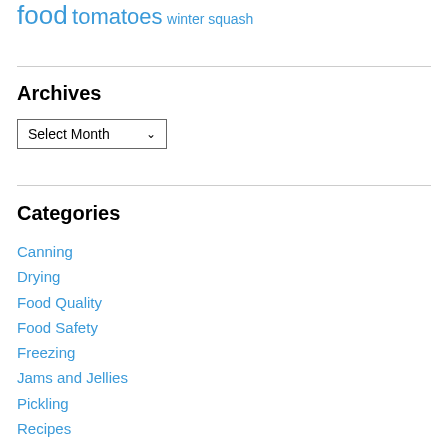food tomatoes winter squash
Archives
Select Month (dropdown)
Categories
Canning
Drying
Food Quality
Food Safety
Freezing
Jams and Jellies
Pickling
Recipes
Seasonal Food Tips
Storing Canned Foods